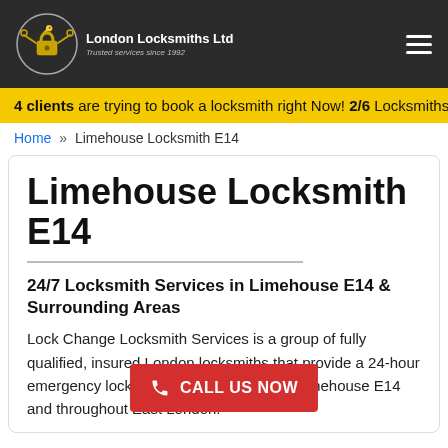London Locksmiths Ltd — Trusted services since 1992
4 clients are trying to book a locksmith right Now! 2/6 Locksmiths Av…
Home » Limehouse Locksmith E14
Limehouse Locksmith E14
24/7 Locksmith Services in Limehouse E14 & Surrounding Areas
Lock Change Locksmith Services is a group of fully qualified, insured London locksmiths that provide a 24-hour emergency locksmith and businesses in Limehouse E14 and throughout East London.
CALL US NOW